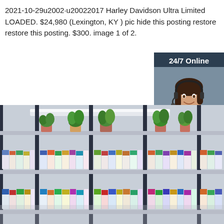2021-10-29u2002·u20022017 Harley Davidson Ultra Limited LOADED. $24,980 (Lexington, KY ) pic hide this posting restore restore this posting. $300. image 1 of 2.
[Figure (other): Orange 'Get Price' button]
[Figure (other): Chat widget with '24/7 Online' header, agent photo, 'Click here for free chat!' text, and orange QUOTATION button]
[Figure (photo): Pharmacy shelf interior with shelves of medicine boxes and potted plants on top]